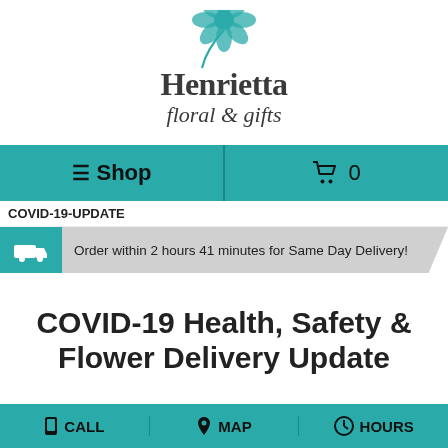[Figure (logo): Henrietta Floral & Gifts logo with teal flower graphic above the text]
≡ Shop  🛒 0
COVID-19-UPDATE
Order within 2 hours 41 minutes for Same Day Delivery!
COVID-19 Health, Safety & Flower Delivery Update
CALL  MAP  HOURS